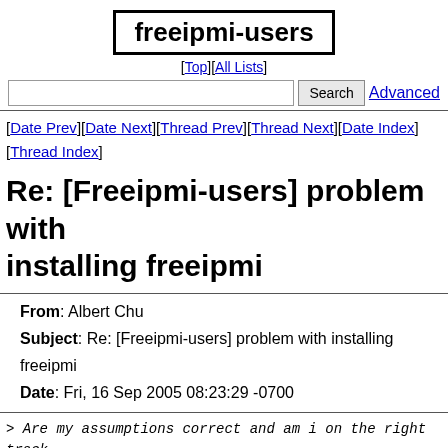freeipmi-users
[Top][All Lists]
[Date Prev][Date Next][Thread Prev][Thread Next][Date Index][Thread Index]
Re: [Freeipmi-users] problem with installing freeipmi
| From: | Albert Chu |
| Subject: | Re: [Freeipmi-users] problem with installing freeipmi |
| Date: | Fri, 16 Sep 2005 08:23:29 -0700 |
> Are my assumptions correct and am i on the right track
They sound pretty much ok to me.
> ALso is there a design document for the freeipmi driver
I don't think any of us have gotten around to writing so good yet.  If you take a look at the 'bmc-watchdog' tool